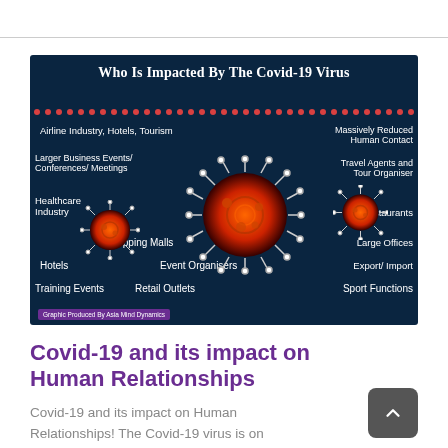[Figure (infographic): Infographic on dark blue background titled 'Who Is Impacted By The Covid-19 Virus' showing a large coronavirus particle in the center with smaller ones, surrounded by text labels: Airline Industry, Hotels, Tourism; Massively Reduced Human Contact; Larger Business Events/ Conferences/ Meetings; Travel Agents and Tour Organiser; Healthcare Industry; Restaurants; Shopping Malls; Large Offices; Hotels; Event Organisers; Export/Import; Training Events; Retail Outlets; Sport Functions. Credit: Graphic Produced By Asia Mind Dynamics.]
Covid-19 and its impact on Human Relationships
Covid-19 and its impact on Human Relationships! The Covid-19 virus is on